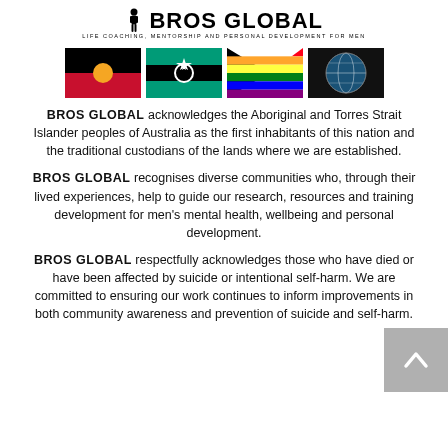[Figure (logo): BROS GLOBAL logo with silhouette figure and text 'LIFE COACHING, MENTORSHIP AND PERSONAL DEVELOPMENT FOR MEN']
[Figure (illustration): Row of four flags: Aboriginal flag, Torres Strait Islander flag, Progress Pride flag, world flags globe]
BROS GLOBAL acknowledges the Aboriginal and Torres Strait Islander peoples of Australia as the first inhabitants of this nation and the traditional custodians of the lands where we are established.
BROS GLOBAL recognises diverse communities who, through their lived experiences, help to guide our research, resources and training development for men's mental health, wellbeing and personal development.
BROS GLOBAL respectfully acknowledges those who have died or have been affected by suicide or intentional self-harm. We are committed to ensuring our work continues to inform improvements in both community awareness and prevention of suicide and self-harm.